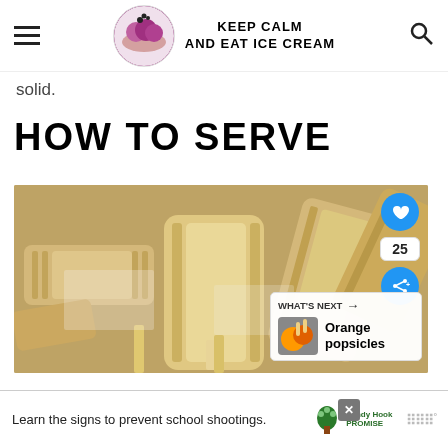KEEP CALM AND EAT ICE CREAM
solid.
HOW TO SERVE
[Figure (photo): Close-up photo of wooden popsicle molds scattered on a surface, showing the ridged rectangular shapes of ice cream mold trays]
WHAT'S NEXT → Orange popsicles
Learn the signs to prevent school shootings.